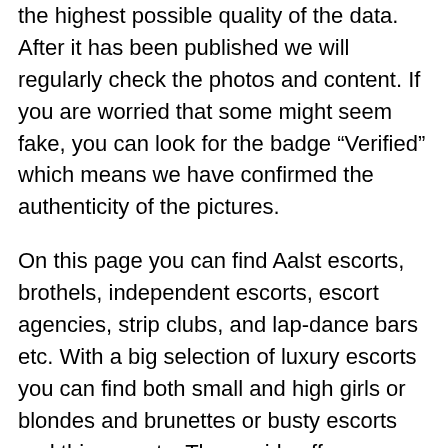the highest possible quality of the data. After it has been published we will regularly check the photos and content. If you are worried that some might seem fake, you can look for the badge “Verified” which means we have confirmed the authenticity of the pictures.
On this page you can find Aalst escorts, brothels, independent escorts, escort agencies, strip clubs, and lap-dance bars etc. With a big selection of luxury escorts you can find both small and high girls or blondes and brunettes or busty escorts and thin escorts. These girls offers everything from anal, to girlfriend experience, blowjob, classic sex, full service, sex without condom and much more. If you use a call girl service, you can always ask the girl what she offers before making an appointment. Girls doing escort Aalst offers both incall and outcall. Our recommendation when you find an elite escort or VIP escort is you should offer at least a fee for a completed